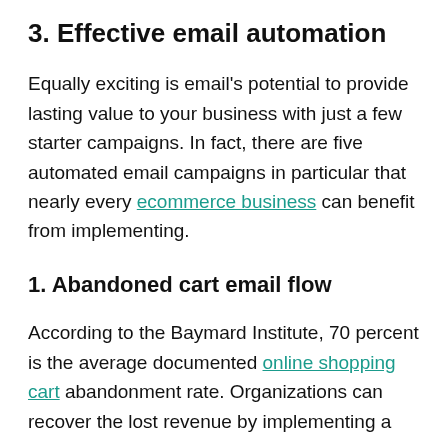3. Effective email automation
Equally exciting is email’s potential to provide lasting value to your business with just a few starter campaigns. In fact, there are five automated email campaigns in particular that nearly every ecommerce business can benefit from implementing.
1. Abandoned cart email flow
According to the Baymard Institute, 70 percent is the average documented online shopping cart abandonment rate. Organizations can recover the lost revenue by implementing a